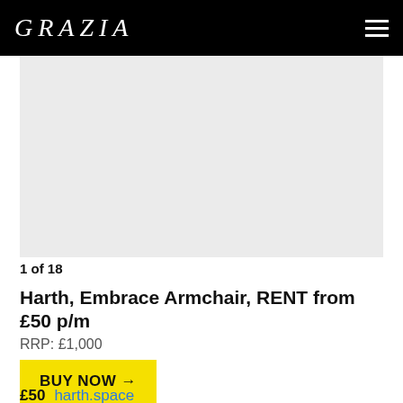GRAZIA
[Figure (photo): Light grey placeholder image area for product photo]
1 of 18
Harth, Embrace Armchair, RENT from £50 p/m
RRP: £1,000
BUY NOW →
£50  harth.space